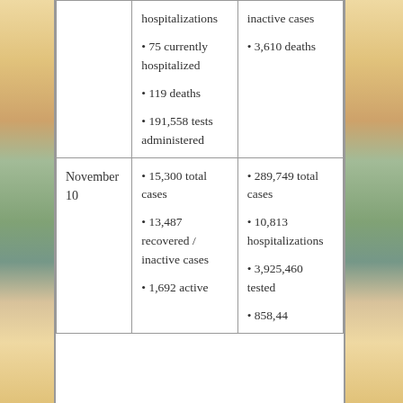| Date | Local Stats | State/National Stats |
| --- | --- | --- |
|  | hospitalizations
• 75 currently hospitalized
• 119 deaths
• 191,558 tests administered | inactive cases
• 3,610 deaths |
| November 10 | • 15,300 total cases
• 13,487 recovered / inactive cases
• 1,692 active | • 289,749 total cases
• 10,813 hospitalizations
• 3,925,460 tested
• 858,448 |